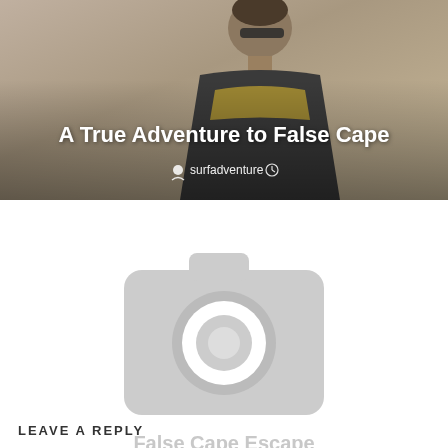[Figure (photo): Hero image of a person wearing sunglasses and a tank top, with title overlay 'A True Adventure to False Cape' and author 'surfadventure']
[Figure (illustration): Placeholder camera icon image with title 'False Cape Escape' and author 'surfadventure' below]
LEAVE A REPLY